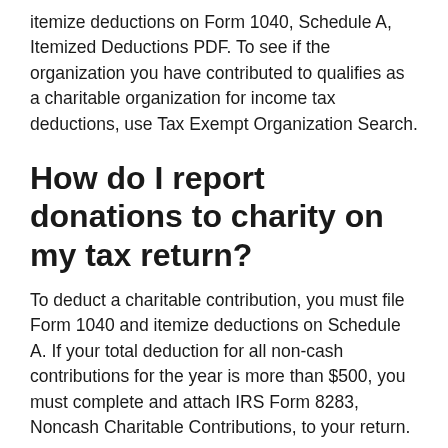itemize deductions on Form 1040, Schedule A, Itemized Deductions PDF. To see if the organization you have contributed to qualifies as a charitable organization for income tax deductions, use Tax Exempt Organization Search.
How do I report donations to charity on my tax return?
To deduct a charitable contribution, you must file Form 1040 and itemize deductions on Schedule A. If your total deduction for all non-cash contributions for the year is more than $500, you must complete and attach IRS Form 8283, Noncash Charitable Contributions, to your return.